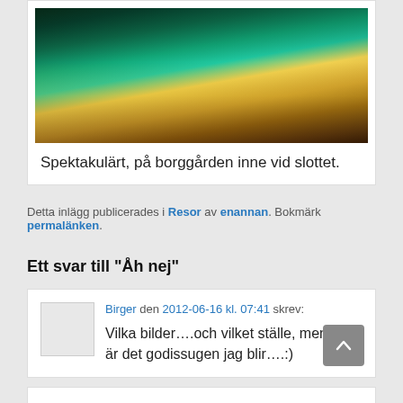[Figure (photo): Aerial night view of a military tattoo or large outdoor performance at a castle courtyard with teal-lit walls, large crowd in stands, performers with lights on the arena floor]
Spektakulärt, på borggården inne vid slottet.
Detta inlägg publicerades i Resor av enannan. Bokmärk permalänken.
Ett svar till “Åh nej”
Birger den 2012-06-16 kl. 07:41 skrev: Vilka bilder….och vilket ställe, men inte är det godissugen jag blir….:)